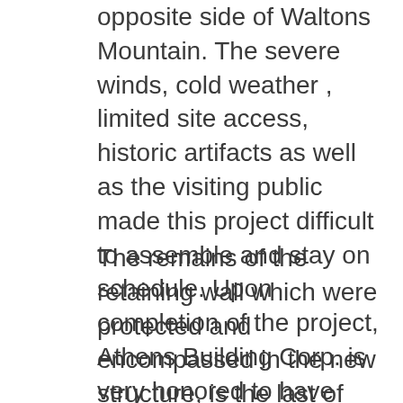opposite side of Waltons Mountain. The severe winds, cold weather , limited site access, historic artifacts as well as the visiting public made this project difficult to assemble and stay on schedule. Upon completion of the project, Athens Building Corp. is very honored to have been part of such a project which bounds modern methods of construction practices along with the age old feel of the property.

The remains of the retaining wall which were protected and encompassed in the new structure, is the last of what was standing of the original barn. The wall was carefully protected and shored up in order